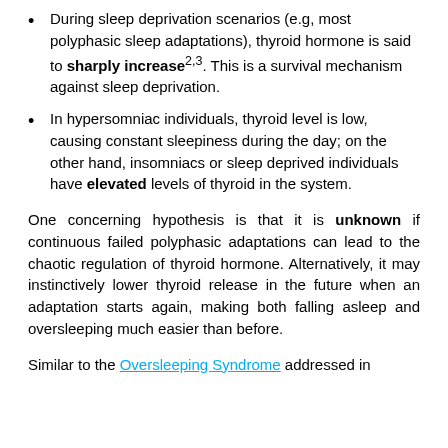During sleep deprivation scenarios (e.g, most polyphasic sleep adaptations), thyroid hormone is said to sharply increase^{2,3}. This is a survival mechanism against sleep deprivation.
In hypersomniac individuals, thyroid level is low, causing constant sleepiness during the day; on the other hand, insomniacs or sleep deprived individuals have elevated levels of thyroid in the system.
One concerning hypothesis is that it is unknown if continuous failed polyphasic adaptations can lead to the chaotic regulation of thyroid hormone. Alternatively, it may instinctively lower thyroid release in the future when an adaptation starts again, making both falling asleep and oversleeping much easier than before.
Similar to the Oversleeping Syndrome addressed in